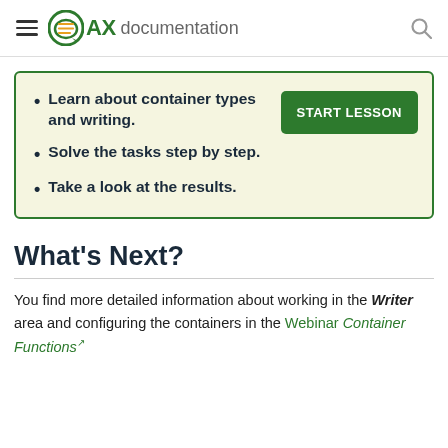AX documentation
Learn about container types and writing.
Solve the tasks step by step.
Take a look at the results.
What's Next?
You find more detailed information about working in the Writer area and configuring the containers in the Webinar Container Functions